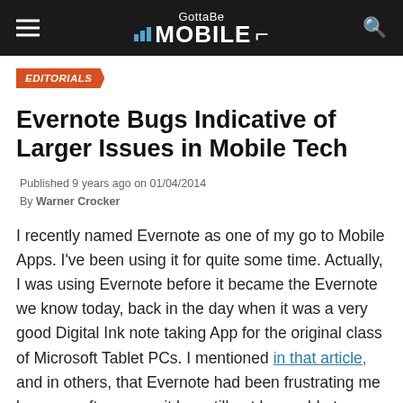GottaBe MOBILE
EDITORIALS
Evernote Bugs Indicative of Larger Issues in Mobile Tech
Published 9 years ago on 01/04/2014
By Warner Crocker
I recently named Evernote as one of my go to Mobile Apps. I've been using it for quite some time. Actually, I was using Evernote before it became the Evernote we know today, back in the day when it was a very good Digital Ink note taking App for the original class of Microsoft Tablet PCs. I mentioned in that article, and in others, that Evernote had been frustrating me because after a year it has still not been able to solve bugs for the Windows RT version. The App on that platform crashes